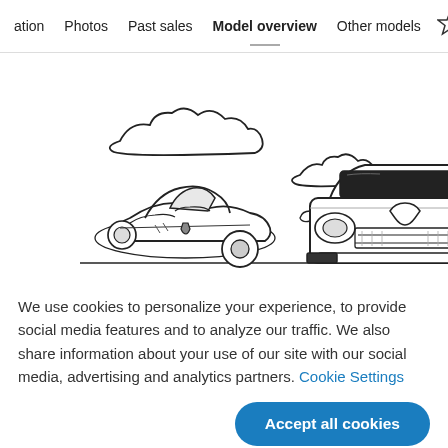ation  Photos  Past sales  Model overview  Other models
[Figure (illustration): Black and white line illustration of two classic cars (a low sports car on the left and a front-facing sedan on the right) with clouds in the background, on a flat ground line.]
We use cookies to personalize your experience, to provide social media features and to analyze our traffic. We also share information about your use of our site with our social media, advertising and analytics partners. Cookie Settings
Accept all cookies